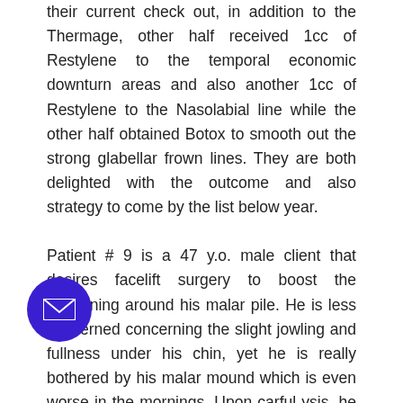their current check out, in addition to the Thermage, other half received 1cc of Restylene to the temporal economic downturn areas and also another 1cc of Restylene to the Nasolabial line while the other half obtained Botox to smooth out the strong glabellar frown lines. They are both delighted with the outcome and also strategy to come by the list below year.

Patient # 9 is a 47 y.o. male client that desires facelift surgery to boost the fastooning around his malar pile. He is less concerned concerning the slight jowling and fullness under his chin, yet he is really bothered by his malar mound which is even worse in the mornings. Upon carful ysis, he has extreme puffiness under his s which directly links to his puffy malar mound. He has actually struggled with allergies
[Figure (other): Purple circular email button in the bottom left area of the page]